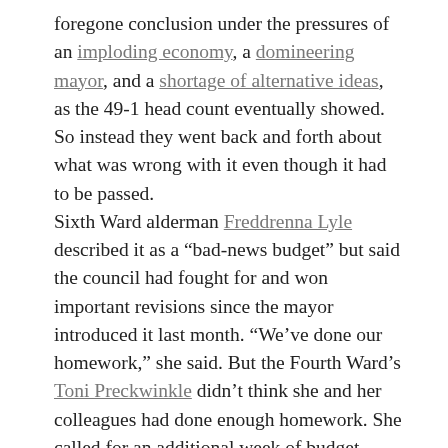foregone conclusion under the pressures of an imploding economy, a domineering mayor, and a shortage of alternative ideas, as the 49-1 head count eventually showed. So instead they went back and forth about what was wrong with it even though it had to be passed.
Sixth Ward alderman Freddrenna Lyle described it as a “bad-news budget” but said the council had fought for and won important revisions since the mayor introduced it last month. “We’ve done our homework,” she said. But the Fourth Ward’s Toni Preckwinkle didn’t think she and her colleagues had done enough homework. She called for an additional week of budget hearings next year. “How can we run through 40 departments in two weeks?” she asked. “I don’t think it